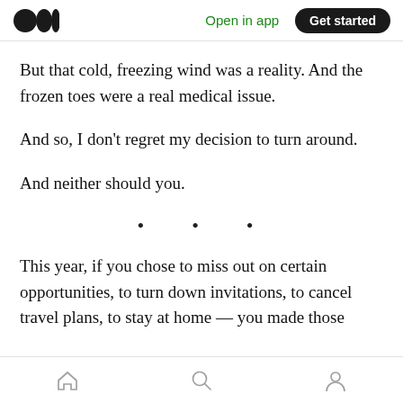Medium app header — Open in app | Get started
But that cold, freezing wind was a reality. And the frozen toes were a real medical issue.
And so, I don't regret my decision to turn around.
And neither should you.
• • •
This year, if you chose to miss out on certain opportunities, to turn down invitations, to cancel travel plans, to stay at home — you made those
Bottom navigation bar: Home, Search, Profile